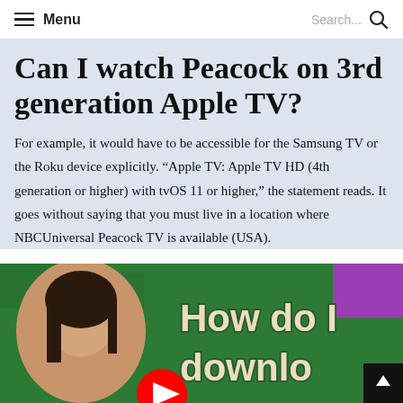Menu  Search...
Can I watch Peacock on 3rd generation Apple TV?
For example, it would have to be accessible for the Samsung TV or the Roku device explicitly. “Apple TV: Apple TV HD (4th generation or higher) with tvOS 11 or higher,” the statement reads. It goes without saying that you must live in a location where NBCUniversal Peacock TV is available (USA).
[Figure (screenshot): YouTube video thumbnail showing a woman on a green background with text 'How do I download' and a YouTube play button]